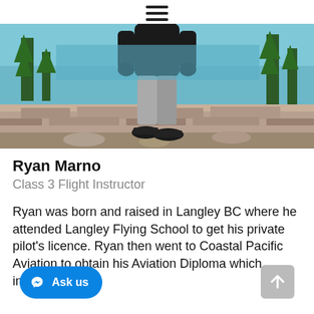☰ (hamburger menu icon)
[Figure (photo): Person standing on a stone ledge with a mountain lake and pine trees in the background. The figure is wearing a black hoodie, grey pants, and dark sneakers. The photo appears to be taken at a scenic outdoor location, possibly near a lake in the mountains.]
Ryan Marno
Class 3 Flight Instructor
Ryan was born and raised in Langley BC where he attended Langley Flying School to get his private pilot's licence. Ryan then went to Coastal Pacific Aviation to obtain his Aviation Diploma which included his...